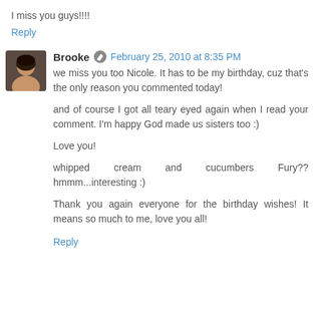I miss you guys!!!!
Reply
Brooke  February 25, 2010 at 8:35 PM
we miss you too Nicole. It has to be my birthday, cuz that's the only reason you commented today!

and of course I got all teary eyed again when I read your comment. I'm happy God made us sisters too :)

Love you!

whipped cream and cucumbers Fury?? hmmm...interesting :)

Thank you again everyone for the birthday wishes! It means so much to me, love you all!
Reply